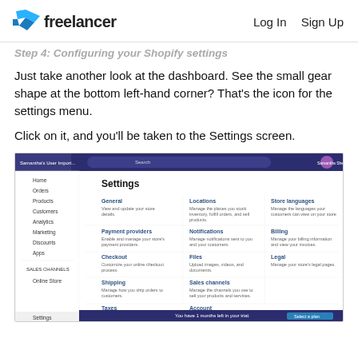Freelancer  Log In  Sign Up
Step 4: Configuring your Shopify settings
Just take another look at the dashboard. See the small gear shape at the bottom left-hand corner? That's the icon for the settings menu.
Click on it, and you'll be taken to the Settings screen.
[Figure (screenshot): Screenshot of a Shopify admin Settings page showing various settings categories including General, Locations, Store languages, Payment providers, Notifications, Billing, Checkout, Files, Legal, Shipping, Sales channels, and Taxes. The sidebar shows navigation items: Home, Orders, Products, Customers, Analytics, Marketing, Discounts, Apps, Online Store, and Settings at the bottom.]